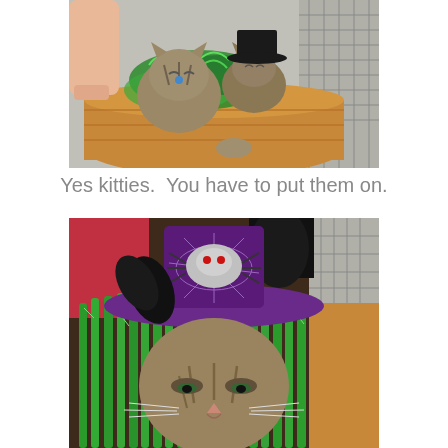[Figure (photo): Two tabby cats in a wicker basket, decorated with green tinsel and wearing Halloween accessories including a black hat. A human hand is visible placing the decorations on the cats.]
Yes kitties.  You have to put them on.
[Figure (photo): Close-up of a tabby cat wearing a green tinsel Halloween costume and a purple and black witch hat decorated with a silver spider with red eyes.]